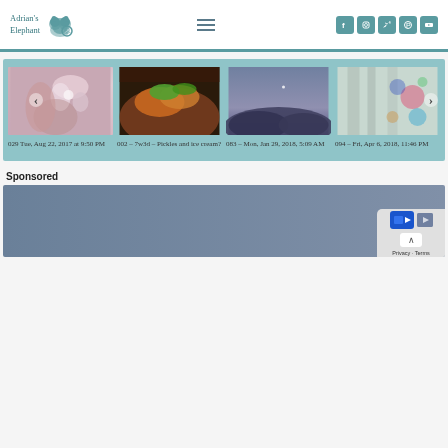Adrian's Elephant — website header with logo, hamburger menu, and social icons (Facebook, Instagram, Twitter, Pinterest, YouTube)
[Figure (screenshot): Carousel of 4 blog post thumbnails: (1) flower/ring photo, caption '029 Tue, Aug 22, 2017 at 9:50 PM'; (2) food/pickles photo, caption '002 – 7w3d – Pickles and ice cream?'; (3) desert/moon night sky photo, caption '083 – Mon, Jan 29, 2018, 5:09 AM'; (4) colorful art/bokeh photo, caption '094 – Fri, Apr 6, 2018, 11:46 PM']
Sponsored
[Figure (photo): Sponsored advertisement area showing a dark blue-grey background image with a privacy/terms overlay in the bottom right corner showing a video icon and 'Privacy - Terms' text]